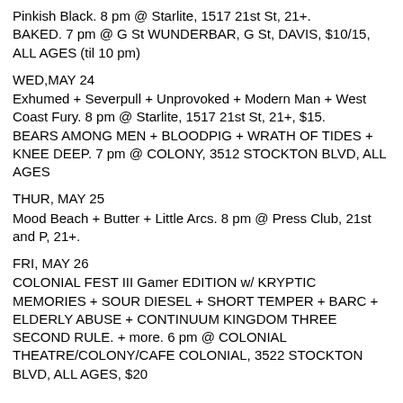Pinkish Black.  8 pm @ Starlite, 1517 21st St, 21+.
BAKED.  7 pm @ G St WUNDERBAR, G St, DAVIS, $10/15, ALL AGES (til 10 pm)
WED,MAY 24
Exhumed + Severpull + Unprovoked + Modern Man + West Coast Fury.  8 pm @ Starlite, 1517 21st St, 21+, $15.
BEARS AMONG MEN + BLOODPIG + WRATH OF TIDES + KNEE DEEP.  7 pm @ COLONY, 3512 STOCKTON BLVD, ALL AGES
THUR, MAY 25
Mood Beach + Butter + Little Arcs.  8 pm @ Press Club, 21st and P, 21+.
FRI, MAY 26
COLONIAL FEST III Gamer EDITION w/ KRYPTIC MEMORIES + SOUR DIESEL + SHORT TEMPER + BARC + ELDERLY ABUSE + CONTINUUM KINGDOM THREE SECOND RULE.  + more.  6 pm @ COLONIAL THEATRE/COLONY/CAFE COLONIAL, 3522 STOCKTON BLVD, ALL AGES, $20